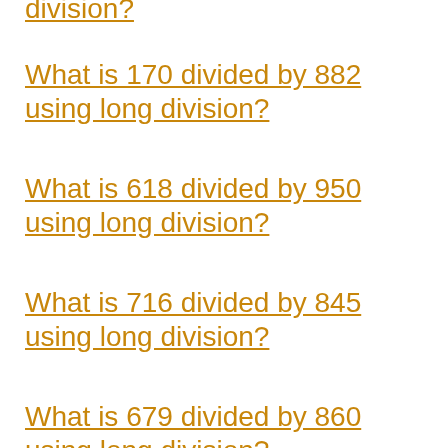division?
What is 170 divided by 882 using long division?
What is 618 divided by 950 using long division?
What is 716 divided by 845 using long division?
What is 679 divided by 860 using long division?
What is 343 divided by 822 using long division?